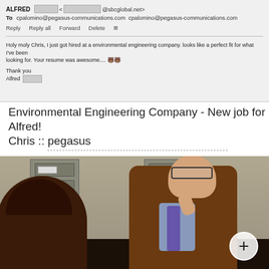[Figure (screenshot): Email screenshot showing message from ALFRED to cpalomino@pegasus-communications.com. Subject area shows email actions: Reply, Reply all, Forward, Delete. Body text reads: 'Holy moly Chris, I just got hired at a environmental engineering company. looks like a perfect fit for what I've been looking for. Your resume was awesome.... Thank you Alfred']
Environmental Engineering Company - New job for Alfred!
Chris :: pegasus
[Figure (screenshot): Video screenshot from what appears to be a Seinfeld episode showing two characters near filing cabinets, with a plus/expand button in the bottom right corner]